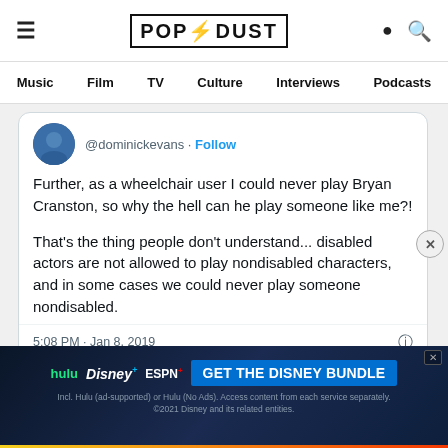POPDUST — Music | Film | TV | Culture | Interviews | Podcasts
@dominickevans · Follow

Further, as a wheelchair user I could never play Bryan Cranston, so why the hell can he play someone like me?!

That's the thing people don't understand... disabled actors are not allowed to play nondisabled characters, and in some cases we could never play someone nondisabled.

5:08 PM · Jan 8, 2019
[Figure (screenshot): Disney Bundle advertisement banner with Hulu, Disney+, ESPN+ logos and 'GET THE DISNEY BUNDLE' call-to-action button]